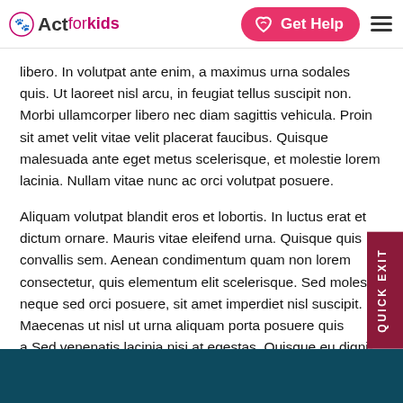Act for Kids | Get Help
libero. In volutpat ante enim, a maximus urna sodales quis. Ut laoreet nisl arcu, in feugiat tellus suscipit non. Morbi ullamcorper libero nec diam sagittis vehicula. Proin sit amet velit vitae velit placerat faucibus. Quisque malesuada ante eget metus scelerisque, et molestie lorem lacinia. Nullam vitae nunc ac orci volutpat posuere.
Aliquam volutpat blandit eros et lobortis. In luctus erat et dictum ornare. Mauris vitae eleifend urna. Quisque quis convallis sem. Aenean condimentum quam non lorem consectetur, quis elementum elit scelerisque. Sed molestie neque sed orci posuere, sit amet imperdiet nisl suscipit. Maecenas ut nisl ut urna aliquam porta posuere quis a. Sed venenatis lacinia nisi at egestas. Quisque eu dignissim ante. Integer sit amet massa orci.